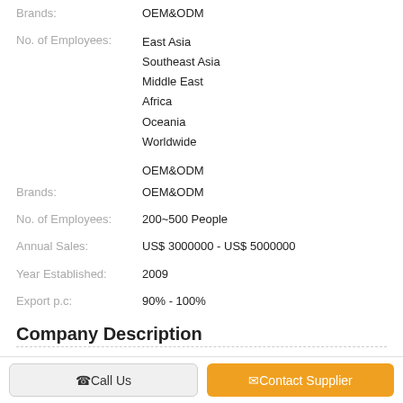| Brands: | OEM&ODM |
| No. of Employees: | 200~500 People |
| Annual Sales: | US$ 3000000 - US$ 5000000 |
| Year Established: | 2009 |
| Export p.c: | 90% - 100% |
Company Description
ZHONGCHENG INDUSTRIAL CO., LTD is a professional manufacturer of detergent powder/liquid detergent/liquid softner/diswashing/handwashing/washing powder/laundry powder/detergent washing powder/laundry soap powder/laundry detergent powder/detergent soap powder products by small bags/bulk bags and carton.